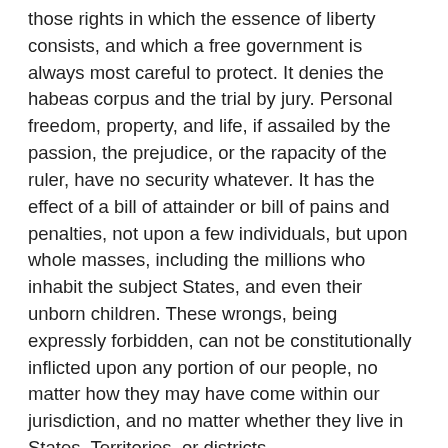those rights in which the essence of liberty consists, and which a free government is always most careful to protect. It denies the habeas corpus and the trial by jury. Personal freedom, property, and life, if assailed by the passion, the prejudice, or the rapacity of the ruler, have no security whatever. It has the effect of a bill of attainder or bill of pains and penalties, not upon a few individuals, but upon whole masses, including the millions who inhabit the subject States, and even their unborn children. These wrongs, being expressly forbidden, can not be constitutionally inflicted upon any portion of our people, no matter how they may have come within our jurisdiction, and no matter whether they live in States, Territories, or districts.
I have no desire to save from the proper and just consequences of their great crime those who engaged in rebellion against the Government, but as a mode of punishment the measures under consideration are the